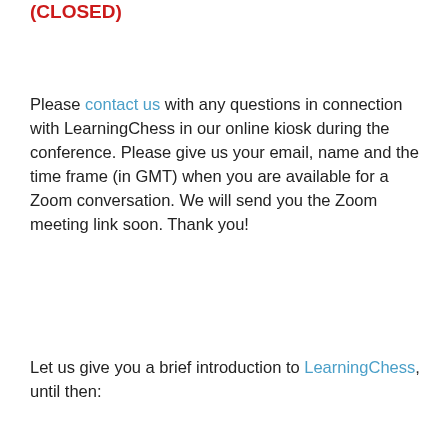(CLOSED)
Please contact us with any questions in connection with LearningChess in our online kiosk during the conference. Please give us your email, name and the time frame (in GMT) when you are available for a Zoom conversation. We will send you the Zoom meeting link soon. Thank you!
Let us give you a brief introduction to LearningChess, until then: